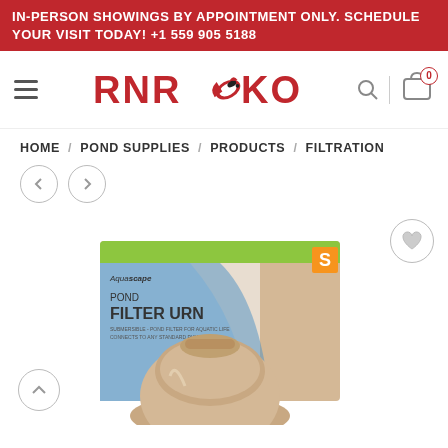IN-PERSON SHOWINGS BY APPOINTMENT ONLY. SCHEDULE YOUR VISIT TODAY! +1 559 905 5188
[Figure (logo): RNR Koi logo with red text and koi fish illustration]
HOME / POND SUPPLIES / PRODUCTS / FILTRATION
[Figure (photo): Aquascape Pond Filter Urn product box, size S, with filter urn visible at bottom]